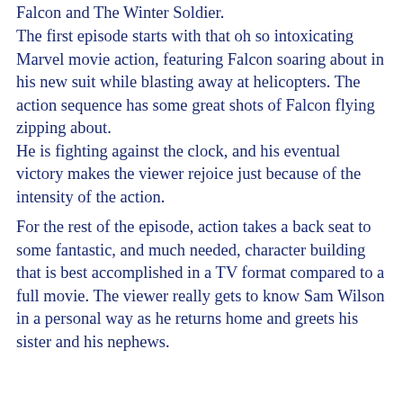Falcon and The Winter Soldier.
The first episode starts with that oh so intoxicating Marvel movie action, featuring Falcon soaring about in his new suit while blasting away at helicopters. The action sequence has some great shots of Falcon flying zipping about. He is fighting against the clock, and his eventual victory makes the viewer rejoice just because of the intensity of the action.
For the rest of the episode, action takes a back seat to some fantastic, and much needed, character building that is best accomplished in a TV format compared to a full movie. The viewer really gets to know Sam Wilson in a personal way as he returns home and greets his sister and his nephews.